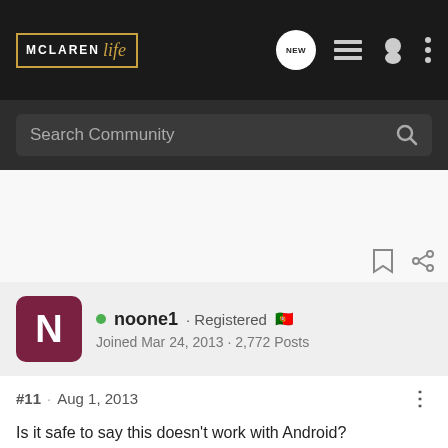McLaren Life – navigation bar with logo, NEW, list, user, and more icons
Search Community
noone1 · Registered
Joined Mar 24, 2013 · 2,772 Posts
#11 · Aug 1, 2013
Is it safe to say this doesn't work with Android?
[Figure (infographic): Pedal Commander advertisement banner: black/orange graphic on left, white section with 'PEDAL COMMANDER' logo, star, text 'YOU WILL SMILE 100% WITH PEDAL COMMANDER']